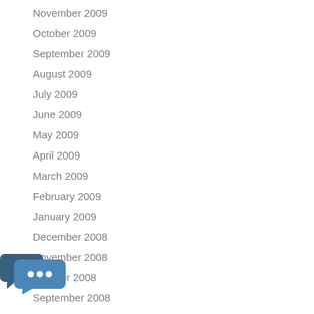November 2009
October 2009
September 2009
August 2009
July 2009
June 2009
May 2009
April 2009
March 2009
February 2009
January 2009
December 2008
November 2008
October 2008
September 2008
[Figure (illustration): Chat bubble icon with three dots, representing a messaging or comment widget]